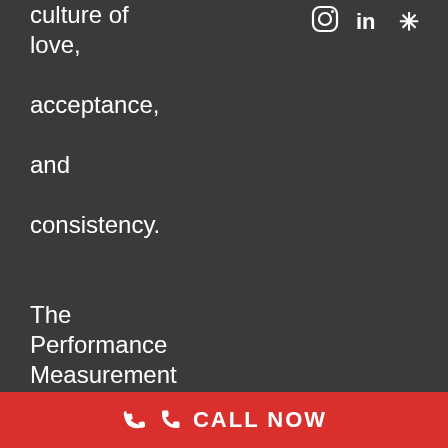culture of love, acceptance, and consistency. The Performance Measurement and Management and Strategic Plans are available for viewing at our offices. Please
[Figure (other): Social media icons: Instagram, LinkedIn, and Yelp displayed in white on dark background]
CALL NOW